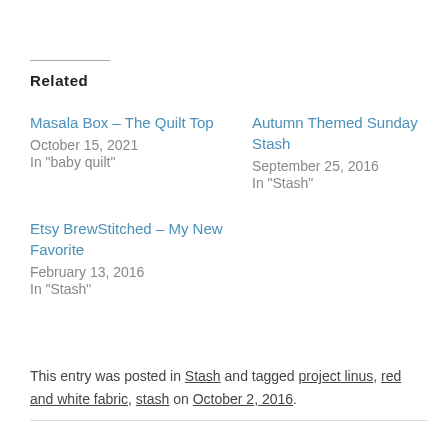Related
Masala Box – The Quilt Top
October 15, 2021
In "baby quilt"
Autumn Themed Sunday Stash
September 25, 2016
In "Stash"
Etsy BrewStitched – My New Favorite
February 13, 2016
In "Stash"
This entry was posted in Stash and tagged project linus, red and white fabric, stash on October 2, 2016.